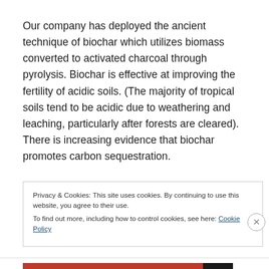Our company has deployed the ancient technique of biochar which utilizes biomass converted to activated charcoal through pyrolysis. Biochar is effective at improving the fertility of acidic soils. (The majority of tropical soils tend to be acidic due to weathering and leaching, particularly after forests are cleared). There is increasing evidence that biochar promotes carbon sequestration.
Privacy & Cookies: This site uses cookies. By continuing to use this website, you agree to their use.
To find out more, including how to control cookies, see here: Cookie Policy